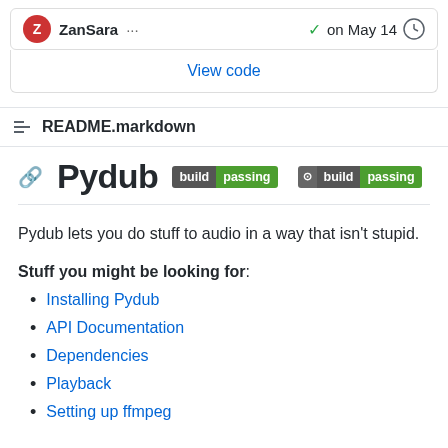[Figure (screenshot): GitHub commit row showing ZanSara user avatar and username, ellipsis menu, green checkmark with 'on May 14' date, and a clock/history icon]
View code
README.markdown
Pydub  build passing  build passing
Pydub lets you do stuff to audio in a way that isn't stupid.
Stuff you might be looking for:
Installing Pydub
API Documentation
Dependencies
Playback
Setting up ffmpeg